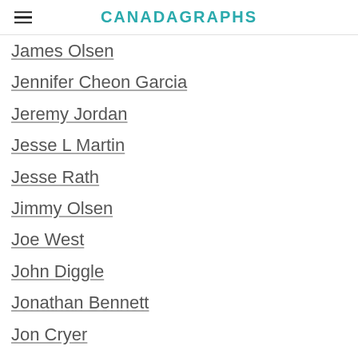CANADAGRAPHS
James Olsen
Jennifer Cheon Garcia
Jeremy Jordan
Jesse L Martin
Jesse Rath
Jimmy Olsen
Joe West
John Diggle
Jonathan Bennett
Jon Cryer
Jonn Jonzz
Julie Gonzalo
Kara Danvers
Katie McGrath
Kelly Olsen